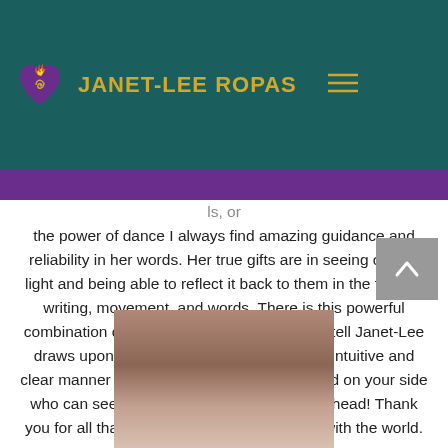JANET-LEE ROPAS
out both d a she ough ls, or the power of dance I always find amazing guidance and reliability in her words. Her true gifts are in seeing other's light and being able to reflect it back to them in the form of writing, movement, and words. There is this powerful combination of different modalities that I can tell Janet-Lee draws upon and offers to clients in such an intuitive and clear manner that you feel like it is just a friend on your side who can see beyond any murkiness in your head! Thank you for all that you remind me of and share with the world.
[Figure (photo): Portrait photo of a woman with dark hair and bangs]